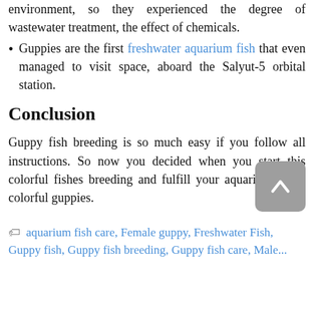environment, so they experienced the degree of wastewater treatment, the effect of chemicals.
Guppies are the first freshwater aquarium fish that even managed to visit space, aboard the Salyut-5 orbital station.
Conclusion
Guppy fish breeding is so much easy if you follow all instructions. So now you decided when you start this colorful fishes breeding and fulfill your aquarium many colorful guppies.
aquarium fish care, Female guppy, Freshwater Fish, Guppy fish, Guppy fish breeding, Guppy fish care, Male...